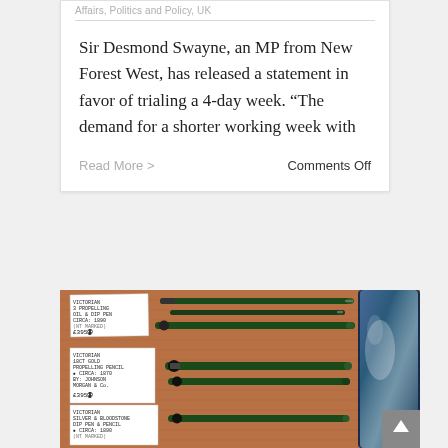Affairs, Politics and Policy, UK
Sir Desmond Swayne, an MP from New Forest West, has released a statement in favor of trialing a 4-day week. “The demand for a shorter working week with
Read More >
Comments Off
[Figure (photo): Photograph of Victorian propelling pens and dip pens displayed on a red/orange fabric surface with handwritten price labels. Labels include: 'Victorian 3 Propelling Oil & Dip Pen, Circa: 1890, £385', 'Victorian 18ct Gold Propelling Pencil, Circa: 1870, By: Johnson, Morgan & Co., £395', 'Victorian Silver & Bloodstone Dip Pen & Pencil, Circa: 1890'. A shiny blue/green object is partially visible on the right side. A scroll-to-top arrow button is visible in the bottom right corner.]